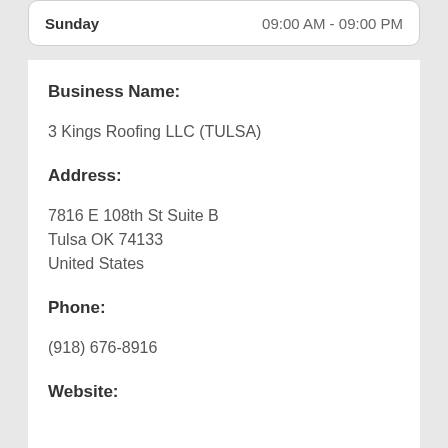| Day | Hours |
| --- | --- |
| Sunday | 09:00 AM - 09:00 PM |
Business Name:
3 Kings Roofing LLC (TULSA)
Address:
7816 E 108th St Suite B
Tulsa OK 74133
United States
Phone:
(918) 676-8916
Website: